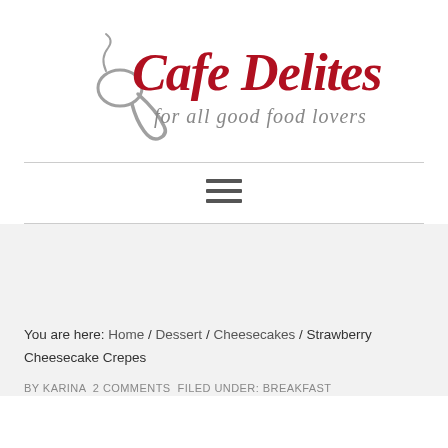[Figure (logo): Cafe Delites logo with cursive red script text and tagline 'for all good food lovers']
[Figure (other): Hamburger menu icon (three horizontal lines)]
You are here: Home / Dessert / Cheesecakes / Strawberry Cheesecake Crepes
BY KARINA 2 COMMENTS FILED UNDER: BREAKFAST